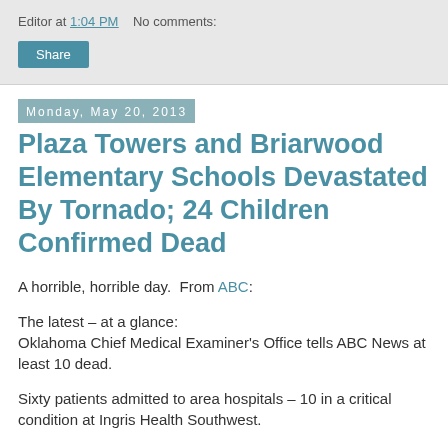Editor at 1:04 PM   No comments:
Share
Monday, May 20, 2013
Plaza Towers and Briarwood Elementary Schools Devastated By Tornado; 24 Children Confirmed Dead
A horrible, horrible day.  From ABC:
The latest – at a glance:
Oklahoma Chief Medical Examiner's Office tells ABC News at least 10 dead.
Sixty patients admitted to area hospitals – 10 in a critical condition at Ingris Health Southwest.